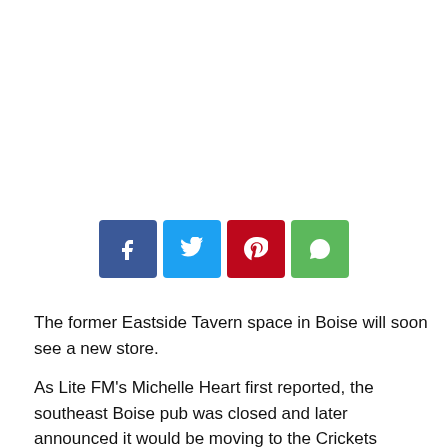[Figure (infographic): Row of four social sharing buttons: Facebook (blue), Twitter (light blue), Pinterest (red), WhatsApp (green)]
The former Eastside Tavern space in Boise will soon see a new store.
As Lite FM's Michelle Heart first reported, the southeast Boise pub was closed and later announced it would be moving to the Crickets Building to the west on Boise Ave.